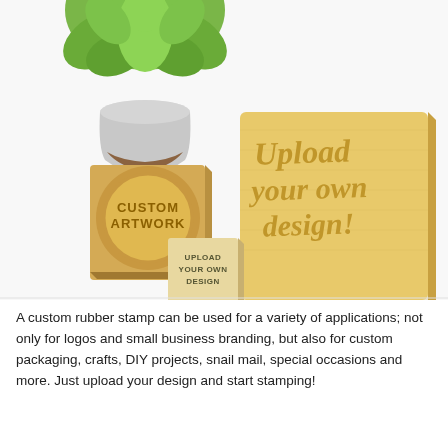[Figure (photo): Product photo showing three custom rubber stamps on a white surface next to a green succulent plant. The largest stamp is a square wooden block engraved with 'Upload your own design!' in a script font. A medium round stamp reads 'CUSTOM ARTWORK' in a circle design. A small square stamp reads 'UPLOAD YOUR OWN DESIGN' in block letters.]
A custom rubber stamp can be used for a variety of applications; not only for logos and small business branding, but also for custom packaging, crafts, DIY projects, snail mail, special occasions and more. Just upload your design and start stamping!